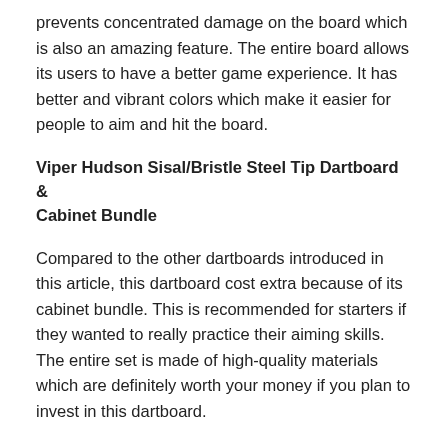prevents concentrated damage on the board which is also an amazing feature. The entire board allows its users to have a better game experience. It has better and vibrant colors which make it easier for people to aim and hit the board.
Viper Hudson Sisal/Bristle Steel Tip Dartboard & Cabinet Bundle
Compared to the other dartboards introduced in this article, this dartboard cost extra because of its cabinet bundle. This is recommended for starters if they wanted to really practice their aiming skills. The entire set is made of high-quality materials which are definitely worth your money if you plan to invest in this dartboard.
Viper League Pro Sisal/Bristle Steel Tip Dartboard with Staple-Free Bullseye and Cricket Scoreboard